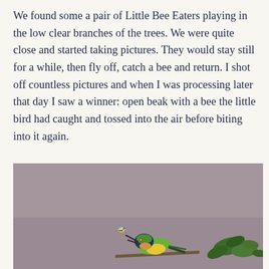We found some a pair of Little Bee Eaters playing in the low clear branches of the trees. We were quite close and started taking pictures. They would stay still for a while, then fly off, catch a bee and return. I shot off countless pictures and when I was processing later that day I saw a winner: open beak with a bee the little bird had caught and tossed into the air before biting into it again.
[Figure (photo): A Little Bee Eater bird perched on a branch with an open beak, appearing to toss a bee in the air. The bird is green and yellow with dark blue head markings. Background is muted gray-purple. Green leafy branch visible at right.]